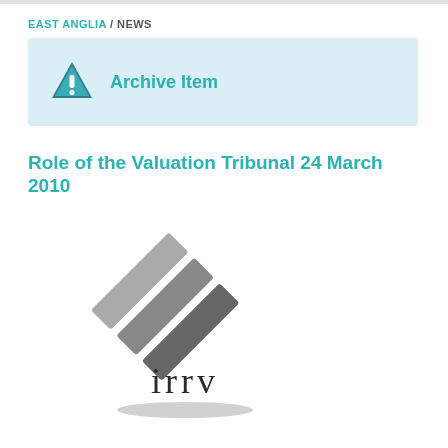EAST ANGLIA / NEWS
Archive Item
Role of the Valuation Tribunal 24 March 2010
[Figure (logo): IRRV logo with stylized stacked parallelogram shapes in grey above the text 'irrv' in dark serif font, with a shadow beneath]